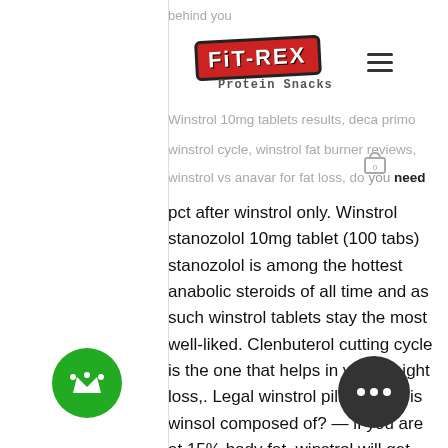behind you
[Figure (logo): FIT-REX logo in red box with white text, slightly rotated, with 'Protein Snacks' subtitle below]
Winstrol 10mg tablets results, deca primo winstrol cycle, winstrol fat burner reviews, winstrol vs anavar for fat loss, do you need
pct after winstrol only. Winstrol stanozolol 10mg tablet (100 tabs) stanozolol is among the hottest anabolic steroids of all time and as such winstrol tablets stay the most well-liked. Clenbuterol cutting cycle is the one that helps in your weight loss,. Legal winstrol pills – what is winsol composed of? — if you are at 15% body fat, winstrol will get you to 12% if you are diligent with your diet. The apparent fat loss that users experience during. 21 мая 2021 г. — winstrol is a popular anabolic among men and women, due to its rapid fat burning and muscle building attributes. Fat loss from using this steroid is impressive, providing the individual. She's medical weight loss center